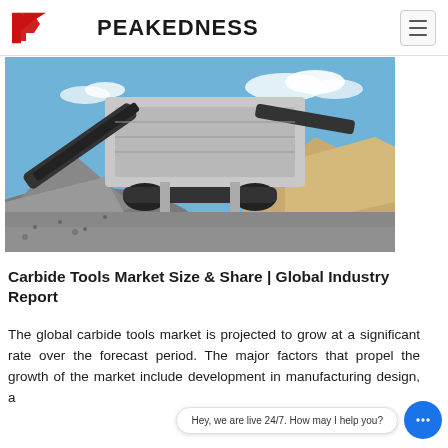PEAKEDNESS
[Figure (photo): Outdoor photo of a large industrial aggregate screening/crushing machine with conveyor belts, surrounded by large piles of gravel and crushed stone under a blue sky.]
Carbide Tools Market Size & Share | Global Industry Report
The global carbide tools market is projected to grow at a significant rate over the forecast period. The major factors that propel the growth of the market include development in manufacturing design, a